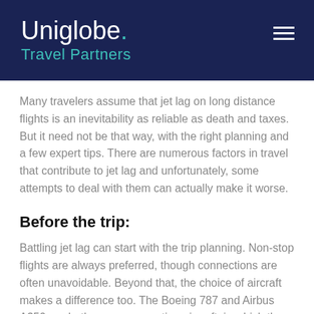[Figure (logo): Uniglobe Travel Partners logo with white text and teal accent color on dark navy background, with hamburger menu icon on the right]
Many travelers assume that jet lag on long distance flights is an inevitability as reliable as death and taxes. But it need not be that way, with the right planning and a few expert tips. There are numerous factors in travel that contribute to jet lag and unfortunately, some attempts to deal with them can actually make it worse.
Before the trip:
Battling jet lag can start with the trip planning. Non-stop flights are always preferred, though connections are often unavoidable. Beyond that, the choice of aircraft makes a difference too. The Boeing 787 and Airbus A350 are both newer generation aircraft, in which the airframes are built